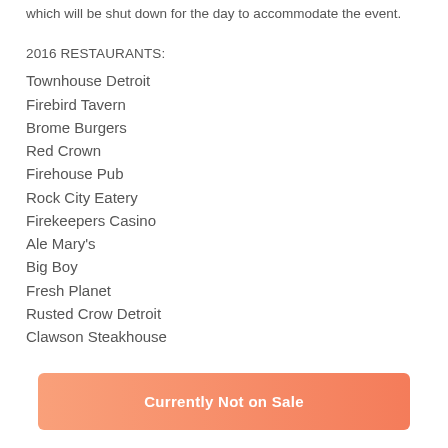which will be shut down for the day to accommodate the event.
2016 RESTAURANTS:
Townhouse Detroit
Firebird Tavern
Brome Burgers
Red Crown
Firehouse Pub
Rock City Eatery
Firekeepers Casino
Ale Mary's
Big Boy
Fresh Planet
Rusted Crow Detroit
Clawson Steakhouse
Currently Not on Sale